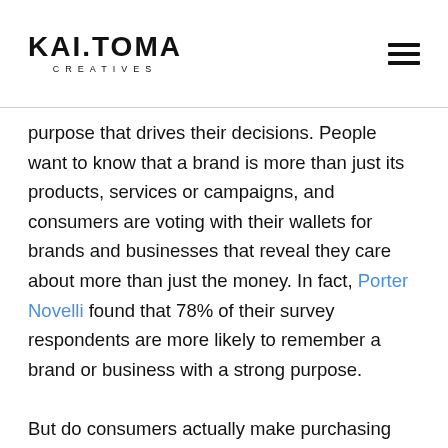KAI.TOMA CREATIVES
purpose that drives their decisions. People want to know that a brand is more than just its products, services or campaigns, and consumers are voting with their wallets for brands and businesses that reveal they care about more than just the money. In fact, Porter Novelli found that 78% of their survey respondents are more likely to remember a brand or business with a strong purpose.

But do consumers actually make purchasing decisions based purely on what a brand or business stands for? Surely with the economic pressure more traditional purchasing criteria, like price, still